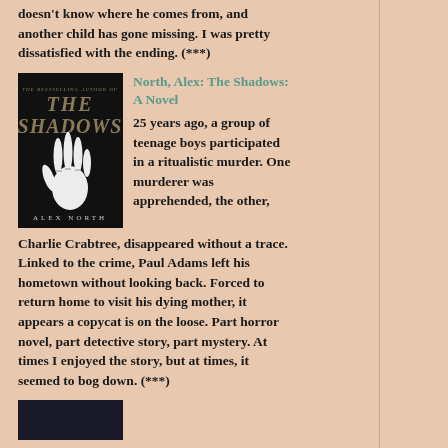doesn't know where he comes from, and another child has gone missing. I was pretty dissatisfied with the ending. (***)
[Figure (photo): Book cover of 'The Shadows' by Alex North — black cover with a skeletal hand]
North, Alex: The Shadows: A Novel
25 years ago, a group of teenage boys participated in a ritualistic murder. One murderer was apprehended, the other, Charlie Crabtree, disappeared without a trace. Linked to the crime, Paul Adams left his hometown without looking back. Forced to return home to visit his dying mother, it appears a copycat is on the loose. Part horror novel, part detective story, part mystery. At times I enjoyed the story, but at times, it seemed to bog down. (***)
[Figure (photo): Partial view of another book cover at the bottom of the page]